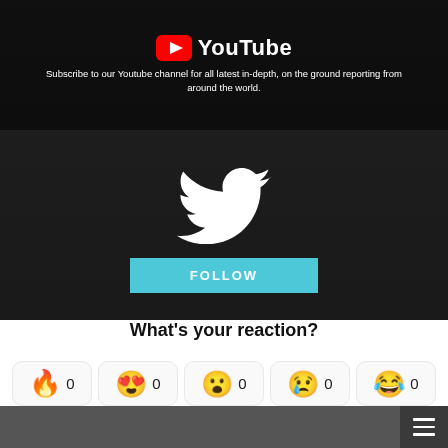[Figure (screenshot): YouTube banner with logo and subscribe text on dark background with people in background]
Subscribe to our Youtube channel for all latest in-depth, on the ground reporting from around the world.
[Figure (screenshot): Twitter follow banner with white Twitter bird logo on dark background with police officers, and a cyan FOLLOW button]
What's your reaction?
[Figure (infographic): Reaction emoji row 1: flame 0, heart-eyes 0, surprised 0, sad 0, laughing 0]
[Figure (infographic): Reaction emoji row 2: angry 0]